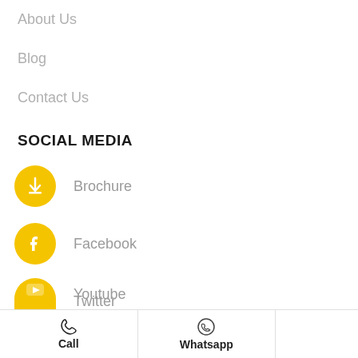About Us
Blog
Contact Us
SOCIAL MEDIA
Brochure
Facebook
Twitter
Instagram
Youtube
Call  Whatsapp